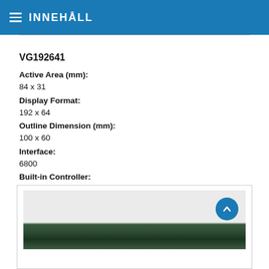INNEHÅLL
VG192641
Active Area (mm):
84 x 31
Display Format:
192 x 64
Outline Dimension (mm):
100 x 60
Interface:
6800
Built-in Controller:
KS0108 or Equivalent
[Figure (photo): Photo of VG192641 LCD display module, showing a rectangular electronic component with green PCB board visible at the bottom of a light gray image container area.]